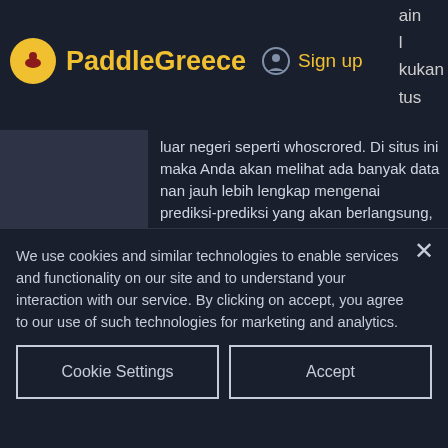PaddleGreece Sign up
luar negeri seperti whoscrored. Di situs ini maka Anda akan melihat ada banyak data nan jauh lebih lengkap mengenai prediksi-prediksi yang akan berlangsung, free play bitcoin slots sky vegas. Bisa dipastikan bahwa prediksi dari mereka tidak asal-asalan karena disertai dengan berbagai macam data dan informasi akurat. Bosbet99 adalah bandar judi bola dan
We use cookies and similar technologies to enable services and functionality on our site and to understand your interaction with our service. By clicking on accept, you agree to our use of such technologies for marketing and analytics.
Cookie Settings
Accept